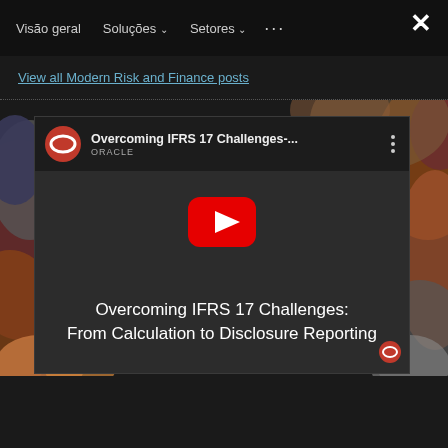Visão geral   Soluções ⌄   Setores ⌄   ···   ✕
View all Modern Risk and Finance posts
[Figure (screenshot): YouTube video embed screenshot showing Oracle-branded video titled 'Overcoming IFRS 17 Challenges-...' with the video title 'Overcoming IFRS 17 Challenges: From Calculation to Disclosure Reporting' displayed over a dark video thumbnail with a red YouTube play button in the center. Oracle logo (red oval with white interior oval) appears in the top-left corner of the video player.]